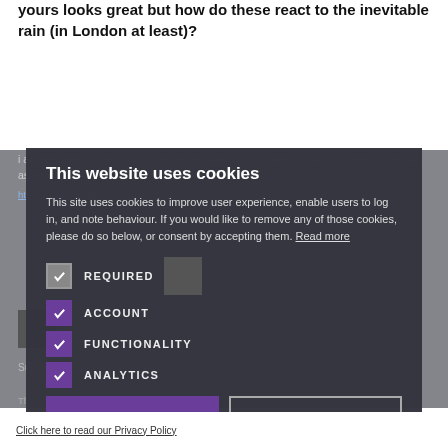yours looks great but how do these react to the inevitable rain (in London at least)?
I am reminded of the classic Seinfeld episode on the subject which is ruined by the rain as he is unwilling to reverse it to reveal the loud lining.... https://www.youtube.com/watch?v=wEpCNQOIMes
This website uses cookies
This site uses cookies to improve user experience, enable users to log in, and note behaviour. If you would like to remove any of those cookies, please do so below, or consent by accepting them. Read more
REQUIRED
ACCOUNT
FUNCTIONALITY
ANALYTICS
ACCEPT ALL
DECLINE ALL
Suede's sensitivity to rain is a bit exaggerated.
Click here to read our Privacy Policy